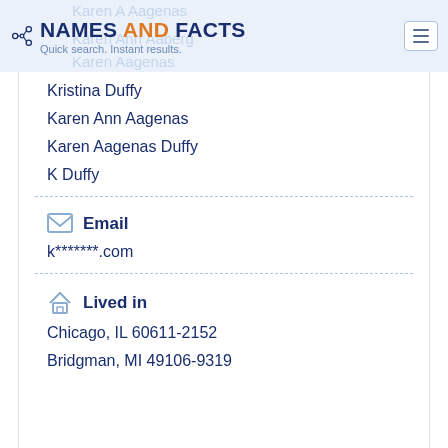NAMES AND FACTS — Quick search. Instant results.
Kristina Duffy
Karen Ann Aagenas
Karen Aagenas Duffy
K Duffy
Email
k*******.com
Lived in
Chicago, IL 60611-2152
Bridgman, MI 49106-9319